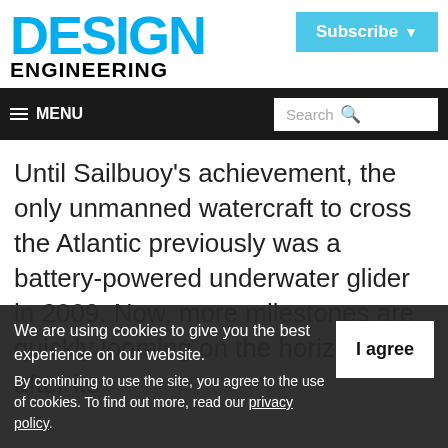[Figure (logo): Design Engineering magazine logo with 'DESIGN' in large cyan text and 'ENGINEERING' in bold black below]
[Figure (other): Subscribe button in cyan/light blue with dropdown arrow]
≡ MENU    Search 🔍
Until Sailbuoy's achievement, the only unmanned watercraft to cross the Atlantic previously was a battery-powered underwater glider in 2009. Now, more milestones are quickly looming on the horizon line after its
We are using cookies to give you the best experience on our website.
By continuing to use the site, you agree to the use of cookies.
To find out more, read our privacy policy.